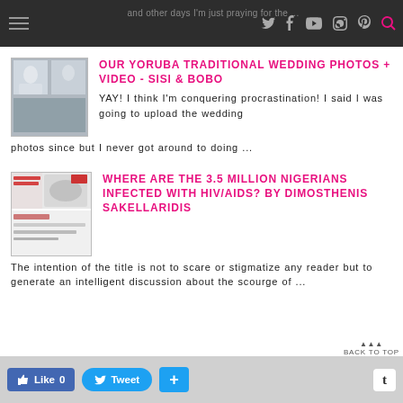and other days I'm just praying for the ...
OUR YORUBA TRADITIONAL WEDDING PHOTOS + VIDEO - SISI & BOBO
YAY! I think I'm conquering procrastination! I said I was going to upload the wedding photos since but I never got around to doing ...
WHERE ARE THE 3.5 MILLION NIGERIANS INFECTED WITH HIV/AIDS? BY DIMOSTHENIS SAKELLARIDIS
The intention of the title is not to scare or stigmatize any reader but to generate an intelligent discussion about the scourge of ...
Like 0  Tweet  +  t